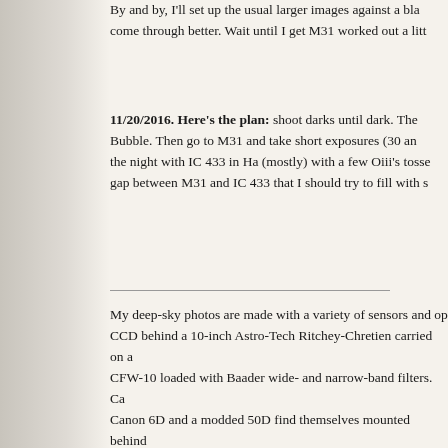By and by, I'll set up the usual larger images against a black background so details come through better. Wait until I get M31 worked out a little more.
11/20/2016. Here's the plan: shoot darks until dark. Then go to the Bubble. Then go to M31 and take short exposures (30 and...). Finish the night with IC 433 in Ha (mostly) with a few Oiii's tossed in. There's a gap between M31 and IC 433 that I should try to fill with s...
My deep-sky photos are made with a variety of sensors and op... CCD behind a 10-inch Astro-Tech Ritchey-Chretien carried on a... CFW-10 loaded with Baader wide- and narrow-band filters. Ca... Canon 6D and a modded 50D find themselves mounted behind... refractor or a tiny but mighty AT65EDQ refractor, sometimes wi... target. Really widefield photos are often made using the 6D an... PixInsight does most of the heavy lifting in post-processing — a function modification, color calibration, and deconvolution. Pho... get their licks in, too, especially when polishing for the web.